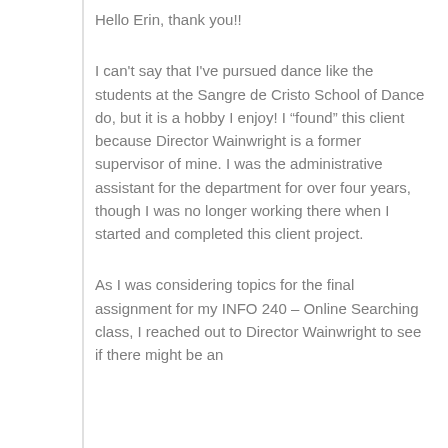Hello Erin, thank you!!
I can't say that I've pursued dance like the students at the Sangre de Cristo School of Dance do, but it is a hobby I enjoy! I “found” this client because Director Wainwright is a former supervisor of mine. I was the administrative assistant for the department for over four years, though I was no longer working there when I started and completed this client project.
As I was considering topics for the final assignment for my INFO 240 – Online Searching class, I reached out to Director Wainwright to see if there might be an